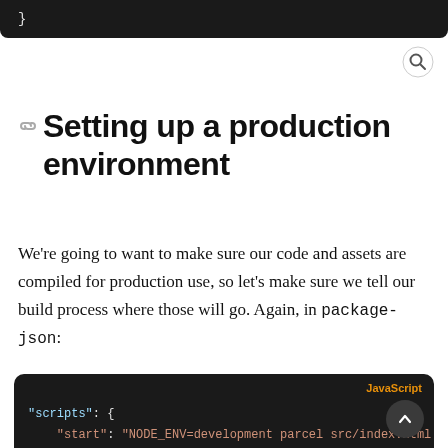[Figure (screenshot): Partial dark code block at top of page, showing a closing brace character]
Setting up a production environment
We're going to want to make sure our code and assets are compiled for production use, so let's make sure we tell our build process where those will go. Again, in package-json:
[Figure (screenshot): Dark code block labeled JavaScript showing scripts object with start and build keys containing NODE_ENV parcel commands]